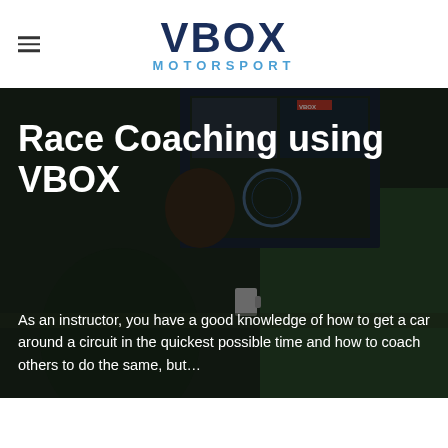VBOX MOTORSPORT
[Figure (photo): Background photo of two people in racing gear sitting at a desk with VBOX motorsport software displayed on a monitor, reviewing race telemetry data. Dark, moody lighting with green racing suits visible.]
Race Coaching using VBOX
As an instructor, you have a good knowledge of how to get a car around a circuit in the quickest possible time and how to coach others to do the same, but…